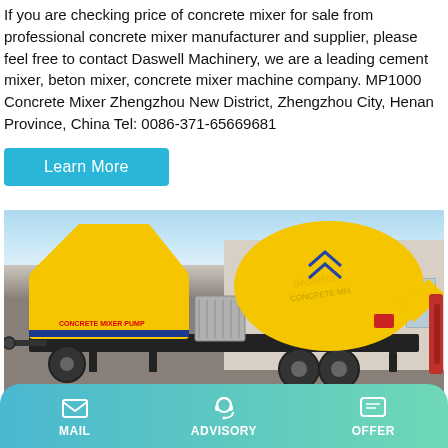If you are checking price of concrete mixer for sale from professional concrete mixer manufacturer and supplier, please feel free to contact Daswell Machinery, we are a leading cement mixer, beton mixer, concrete mixer machine company. MP1000 Concrete Mixer Zhengzhou New District, Zhengzhou City, Henan Province, China Tel: 0086-371-65669681
Learn More
[Figure (photo): Yellow concrete mixer pump machine (CONCRETE MIXER PUMP label visible) parked outdoors on a concrete surface, with a building in the background and blue sky.]
MAIL   ADVISORY   OFFER